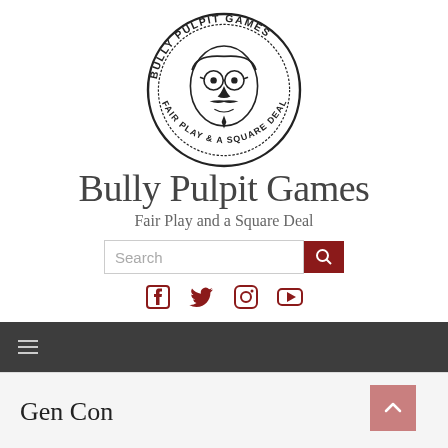[Figure (logo): Bully Pulpit Games circular logo featuring a caricature face with glasses and mustache, surrounded by text 'BULLY PULPIT GAMES' on top and 'FAIR PLAY & A SQUARE DEAL' on bottom]
Bully Pulpit Games
Fair Play and a Square Deal
[Figure (other): Search bar with text input and dark red search button with magnifying glass icon]
[Figure (other): Social media icons: Facebook, Twitter, Instagram, YouTube in dark red]
[Figure (other): Dark gray navigation bar with hamburger menu icon]
Gen Con
[Figure (other): Pink back-to-top arrow button]